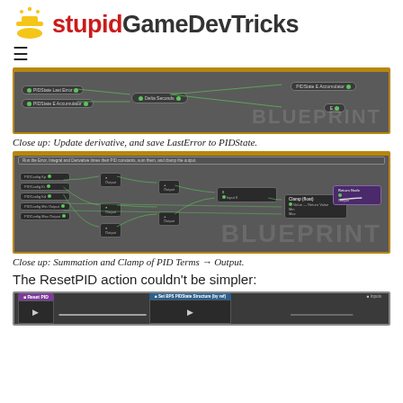stupidGameDevTricks
[Figure (screenshot): Close up Unreal Engine Blueprint showing Update derivative and save LastError to PIDState nodes]
Close up: Update derivative, and save LastError to PIDState.
[Figure (screenshot): Close up Unreal Engine Blueprint showing Summation and Clamp of PID Terms to Output]
Close up: Summation and Clamp of PID Terms → Output.
The ResetPID action couldn't be simpler:
[Figure (screenshot): Unreal Engine Blueprint showing Reset PID and Set BPS PIDState Structure by ref nodes]